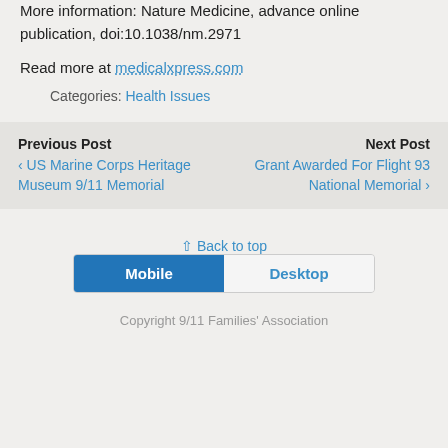More information: Nature Medicine, advance online publication, doi:10.1038/nm.2971
Read more at medicalxpress.com
Categories: Health Issues
Previous Post ‹ US Marine Corps Heritage Museum 9/11 Memorial
Next Post Grant Awarded For Flight 93 National Memorial ›
↑ Back to top
Mobile | Desktop
Copyright 9/11 Families' Association